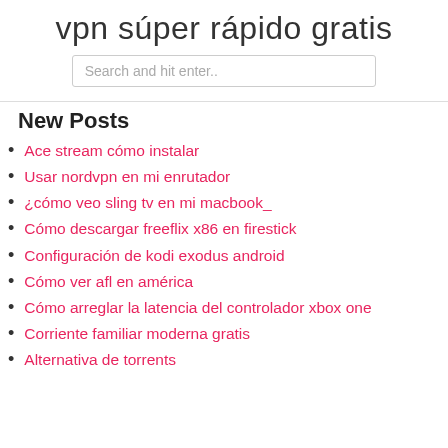vpn súper rápido gratis
Search and hit enter..
New Posts
Ace stream cómo instalar
Usar nordvpn en mi enrutador
¿cómo veo sling tv en mi macbook_
Cómo descargar freeflix x86 en firestick
Configuración de kodi exodus android
Cómo ver afl en américa
Cómo arreglar la latencia del controlador xbox one
Corriente familiar moderna gratis
Alternativa de torrents